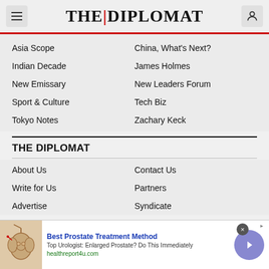THE DIPLOMAT
Asia Scope
China, What's Next?
Indian Decade
James Holmes
New Emissary
New Leaders Forum
Sport & Culture
Tech Biz
Tokyo Notes
Zachary Keck
THE DIPLOMAT
About Us
Contact Us
Write for Us
Partners
Advertise
Syndicate
[Figure (screenshot): Advertisement banner: Best Prostate Treatment Method by healthreport4u.com]